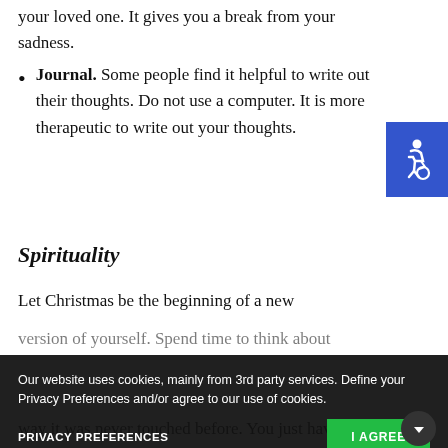your loved one. It gives you a break from your sadness.
Journal. Some people find it helpful to write out their thoughts. Do not use a computer. It is more therapeutic to write out your thoughts.
Spirituality
Let Christmas be the beginning of a new version of yourself. Spend time to think about ...your loved one is enjoying Christ's birthday in heaven. What a special gift! He or ... down from heaven and touch your heart in a way it was never touched before. You just have
Our website uses cookies, mainly from 3rd party services. Define your Privacy Preferences and/or agree to our use of cookies.